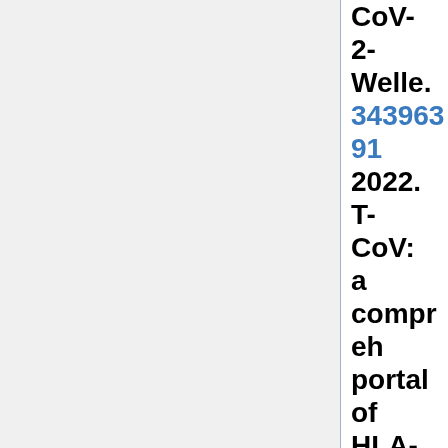CoV-2-Welle. 34396391 2022. T-CoV: a compreh portal of HLA-